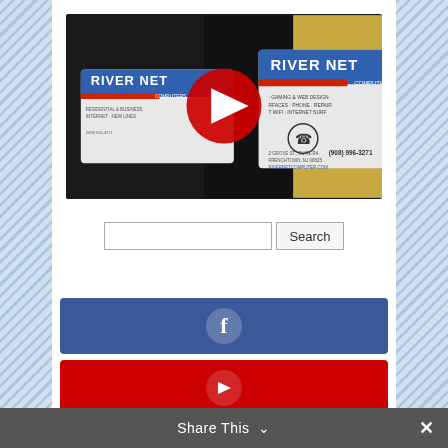[Figure (screenshot): YouTube video thumbnail showing River Net Computers business cards with YouTube play button overlay]
[Figure (screenshot): Search input field with Search button]
[Figure (screenshot): Facebook social share button with white F icon on blue background]
[Figure (screenshot): YouTube social share button (red) partially visible]
Share This ∨ ✕